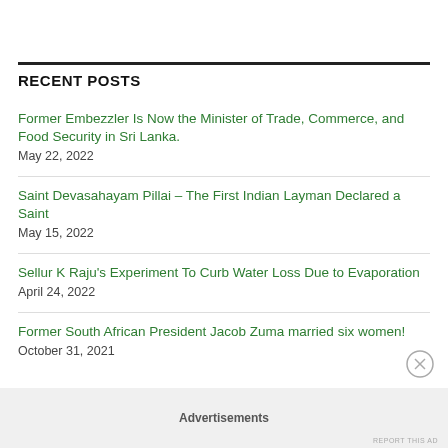RECENT POSTS
Former Embezzler Is Now the Minister of Trade, Commerce, and Food Security in Sri Lanka.
May 22, 2022
Saint Devasahayam Pillai – The First Indian Layman Declared a Saint
May 15, 2022
Sellur K Raju's Experiment To Curb Water Loss Due to Evaporation
April 24, 2022
Former South African President Jacob Zuma married six women!
October 31, 2021
Advertisements